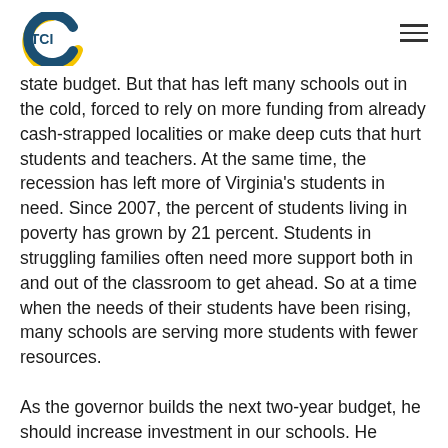TCI
state budget. But that has left many schools out in the cold, forced to rely on more funding from already cash-strapped localities or make deep cuts that hurt students and teachers. At the same time, the recession has left more of Virginia's students in need. Since 2007, the percent of students living in poverty has grown by 21 percent. Students in struggling families often need more support both in and out of the classroom to get ahead. So at a time when the needs of their students have been rising, many schools are serving more students with fewer resources.

As the governor builds the next two-year budget, he should increase investment in our schools. He